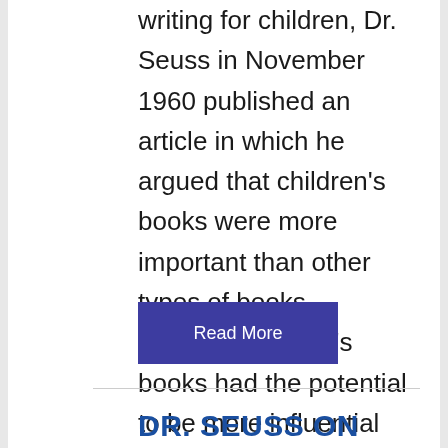writing for children, Dr. Seuss in November 1960 published an article in which he argued that children's books were more important than other types of books – because children's books had the potential to be more influential than all other books. I'm reproducing it below exactly as it appeared
Read More
DR. SEUSS ON